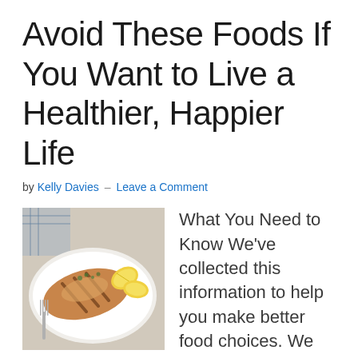Avoid These Foods If You Want to Live a Healthier, Happier Life
by Kelly Davies — Leave a Comment
[Figure (photo): Grilled fish fillet served on a white plate with lemon wedges and herbs]
What You Need to Know We've collected this information to help you make better food choices. We aren't telling you that you must cut these out of your diet completely (although that
telling you that you must cut these out of your diet completely (although that